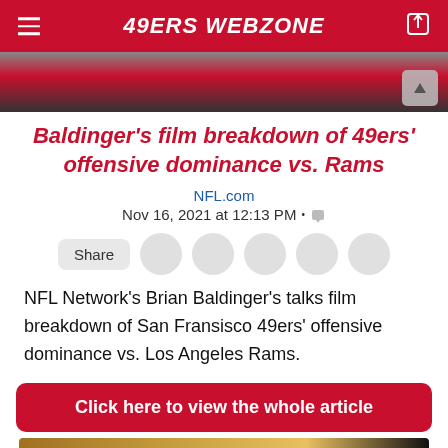49ERS WEBZONE
[Figure (photo): Partial photo of person in red/pink top, darkened at top]
Baldinger’s film breakdown of 49ers’ offensive dominance vs. Rams
NFL.com
Nov 16, 2021 at 12:13 PM •
Share
NFL Network’s Brian Baldinger’s talks film breakdown of San Fransisco 49ers’ offensive dominance vs. Los Angeles Rams.
Click here to view the whole article
[Figure (photo): Bottom partial image strip, warm tones]